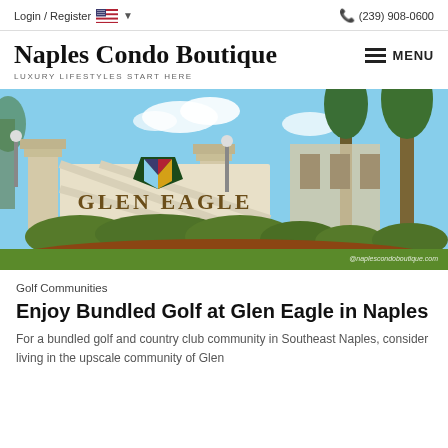Login / Register  (239) 908-0600
Naples Condo Boutique
LUXURY LIFESTYLES START HERE
[Figure (photo): Entrance sign for Glen Eagle Golf and Country Club in Naples, with manicured hedges and landscaping. Watermark: @naplescondoboutique.com]
Golf Communities
Enjoy Bundled Golf at Glen Eagle in Naples
For a bundled golf and country club community in Southeast Naples, consider living in the upscale community of Glen